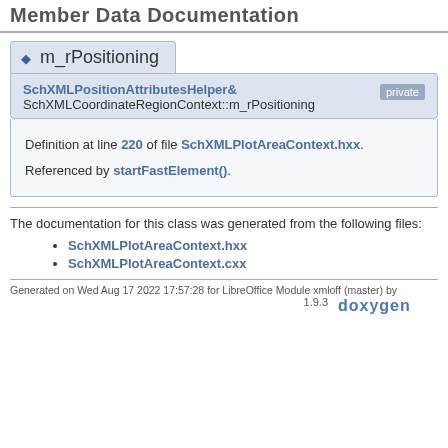Member Data Documentation
◆ m_rPositioning
SchXMLPositionAttributesHelper& SchXMLCoordinateRegionContext::m_rPositioning   private
Definition at line 220 of file SchXMLPlotAreaContext.hxx.

Referenced by startFastElement().
The documentation for this class was generated from the following files:
SchXMLPlotAreaContext.hxx
SchXMLPlotAreaContext.cxx
Generated on Wed Aug 17 2022 17:57:28 for LibreOffice Module xmloff (master) by doxygen 1.9.3